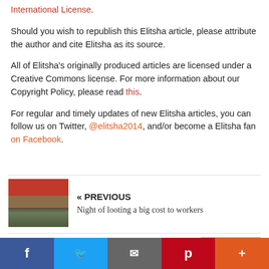International License.
Should you wish to republish this Elitsha article, please attribute the author and cite Elitsha as its source.
All of Elitsha's originally produced articles are licensed under a Creative Commons license. For more information about our Copyright Policy, please read this.
For regular and timely updates of new Elitsha articles, you can follow us on Twitter, @elitsha2014, and/or become a Elitsha fan on Facebook.
[Figure (photo): Rubble and damaged building exterior]
« PREVIOUS
Night of looting a big cost to workers
NEXT »
UAWU strike continues despite no meeting with UCT
[Figure (photo): Crowd of people outside a building]
f  [Twitter bird]  [email icon]  p  +